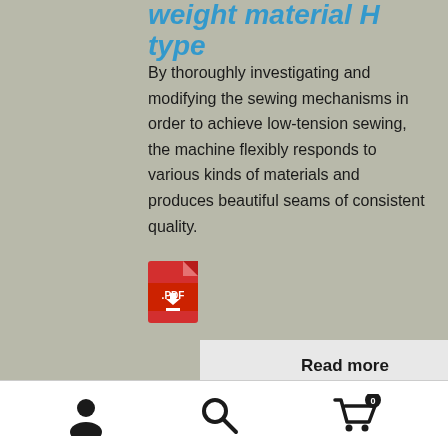weight material H type
By thoroughly investigating and modifying the sewing mechanisms in order to achieve low-tension sewing, the machine flexibly responds to various kinds of materials and produces beautiful seams of consistent quality.
[Figure (other): PDF download icon — red document icon with .PDF label and white download arrow]
Read more
[Figure (other): Footer navigation bar with user account icon, search icon, and shopping cart icon with badge showing 0]